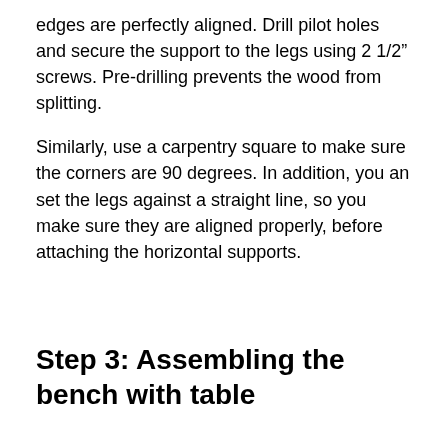edges are perfectly aligned. Drill pilot holes and secure the support to the legs using 2 1/2” screws. Pre-drilling prevents the wood from splitting.
Similarly, use a carpentry square to make sure the corners are 90 degrees. In addition, you an set the legs against a straight line, so you make sure they are aligned properly, before attaching the horizontal supports.
Step 3: Assembling the bench with table